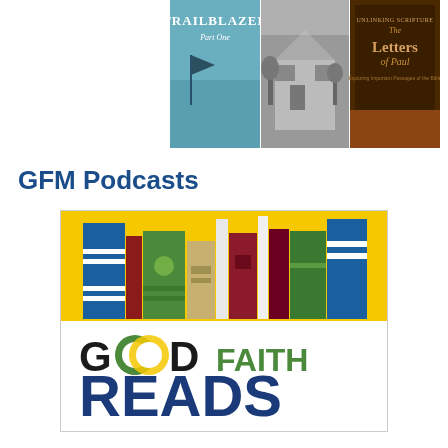[Figure (illustration): Three book covers in a horizontal banner: 'Trailblazer Part One' (nautical themed, blue), a black-and-white historical building photo, and 'Unlinking Scripture: The Letters of Paul - Exploring Important Passages of the Bible']
GFM Podcasts
[Figure (logo): Good Faith Reads logo: colorful illustrated books on yellow background on top half, 'GOODFAITH READS' text on white background on bottom half, with the two O's in GOOD styled as overlapping circles (one green, one yellow/dark)]